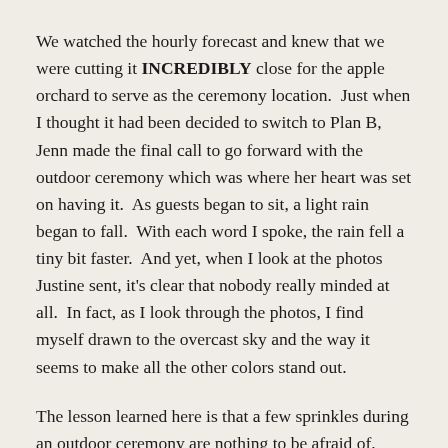We watched the hourly forecast and knew that we were cutting it INCREDIBLY close for the apple orchard to serve as the ceremony location.  Just when I thought it had been decided to switch to Plan B, Jenn made the final call to go forward with the outdoor ceremony which was where her heart was set on having it.  As guests began to sit, a light rain began to fall.  With each word I spoke, the rain fell a tiny bit faster.  And yet, when I look at the photos Justine sent, it's clear that nobody really minded at all.  In fact, as I look through the photos, I find myself drawn to the overcast sky and the way it seems to make all the other colors stand out.
The lesson learned here is that a few sprinkles during an outdoor ceremony are nothing to be afraid of.  One look at the faces in these photographs should be all the proof you need.